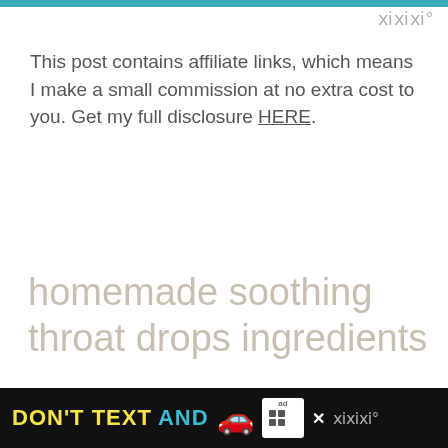This post contains affiliate links, which means I make a small commission at no extra cost to you. Get my full disclosure HERE.
homemade soothing throat drops ingredients
1 tablespoon loose leaf red raspberry leaf tea
1 tablespoon loose-leaf
[Figure (screenshot): Advertisement banner: DON'T TEXT AND [car emoji] with NHTSA ad badge]